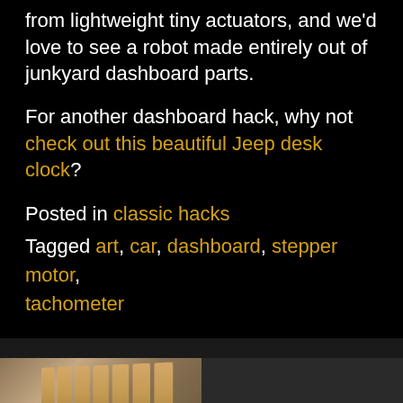from lightweight tiny actuators, and we'd love to see a robot made entirely out of junkyard dashboard parts.
For another dashboard hack, why not check out this beautiful Jeep desk clock?
Posted in classic hacks
Tagged art, car, dashboard, stepper motor, tachometer
[Figure (photo): Two-panel photo strip: left panel shows wooden slat-like objects at an angle, right panel shows workshop/garage scene with yellow equipment visible]
By using our website and services, you expressly agree to the placement of our performance, functionality and advertising cookies. Learn more